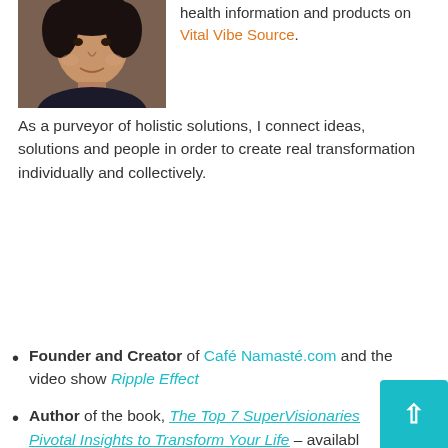[Figure (photo): Headshot photo of a person wearing a dark shirt]
health information and products on Vital Vibe Source.
As a purveyor of holistic solutions, I connect ideas, solutions and people in order to create real transformation individually and collectively.
Founder and Creator of Café Namasté.com and the video show Ripple Effect
Author of the book, The Top 7 SuperVisionaries Pivotal Insights to Transform Your Life – available Amazon.